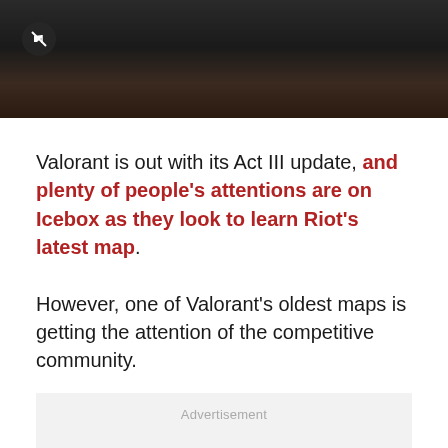[Figure (screenshot): Dark video thumbnail with mute icon in top-left corner, showing a darkened scene with reddish-brown tones]
Valorant is out with its Act III update, and plenty of people's attentions are on Icebox as they look to learn Riot's latest map.
However, one of Valorant's oldest maps is getting the attention of the competitive community.
Advertisement
Split has recently found itself becoming more